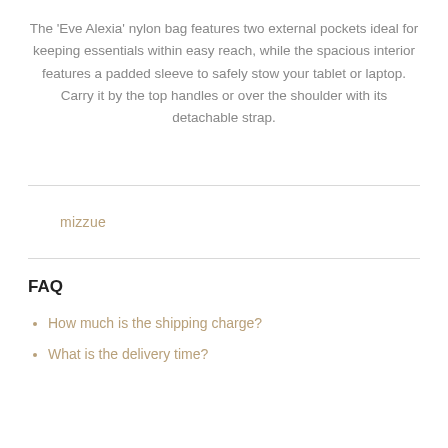The 'Eve Alexia' nylon bag features two external pockets ideal for keeping essentials within easy reach, while the spacious interior features a padded sleeve to safely stow your tablet or laptop. Carry it by the top handles or over the shoulder with its detachable strap.
mizzue
FAQ
How much is the shipping charge?
What is the delivery time?